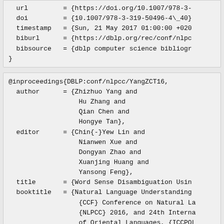url         = {https://doi.org/10.1007/978-3-
  doi         = {10.1007/978-3-319-50496-4\_40}
  timestamp   = {Sun, 21 May 2017 01:00:00 +020
  biburl      = {https://dblp.org/rec/conf/nlpc
  bibsource   = {dblp computer science bibliogr
}
@inproceedings{DBLP:conf/nlpcc/YangZCT16,
  author      = {Zhizhuo Yang and
                  Hu Zhang and
                  Qian Chen and
                  Hongye Tan},
  editor      = {Chin{-}Yew Lin and
                  Nianwen Xue and
                  Dongyan Zhao and
                  Xuanjing Huang and
                  Yansong Feng},
  title       = {Word Sense Disambiguation Usin
  booktitle   = {Natural Language Understanding
                  {CCF} Conference on Natural La
                  {NLPCC} 2016, and 24th Interna
                  of Oriental Languages, {ICCPOL
                  2016, Proceedings},
  series      = {Lecture Notes in Computer Scie
  volume      = {10102},
  pages       = {489--496},
  publisher   = {Springer}